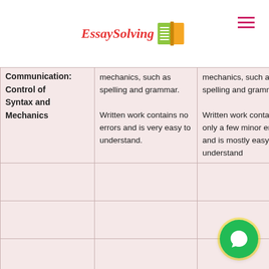EssaySolving
|  |  |  |
| --- | --- | --- |
| Communication: Control of Syntax and Mechanics | mechanics, such as spelling and grammar. Written work contains no errors and is very easy to understand. | mechanics, such as spelling and grammar. Written work contains only a few minor errors and is mostly easy to understand |
|  |  |  |
|  |  |  |
|  |  |  |